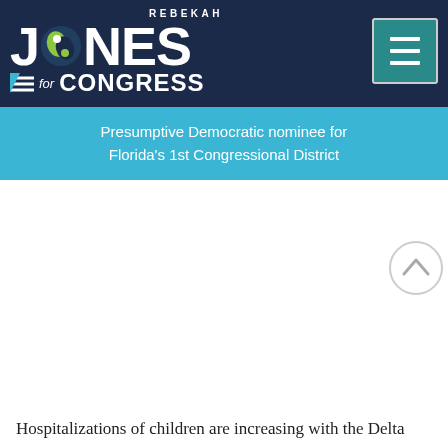[Figure (logo): Rebekah Jones for Congress campaign logo with dark navy background, large JONES text with green/teal swirl icon, 'for CONGRESS' bar, hamburger menu button in teal, and cyan tagline bar reading 'Presumptive Democratic nominee for Florida's 1st Congressional District']
ren
gible
y 11-
year-
Hospitalizations of children are increasing with the Delta and Gamma variants, which are particularly good at infection and sickening children.
I still update the modern and classic versions of my website with the available CDC data each day. The sites have always been and will always continue to be free to the public, including all underlying data and archives. I made a promise to see this